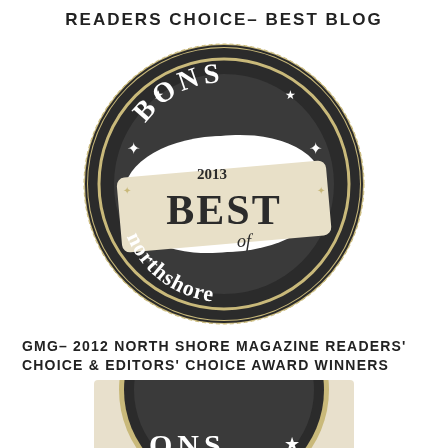READERS CHOICE- BEST BLOG
[Figure (logo): BONS 2013 Best of Northshore circular seal/badge in dark charcoal and gold tones with zigzag border]
GMG- 2012 NORTH SHORE MAGAZINE READERS' CHOICE & EDITORS' CHOICE AWARD WINNERS
[Figure (logo): BONS circular seal/badge, partially visible at bottom of page, similar dark charcoal and gold design]